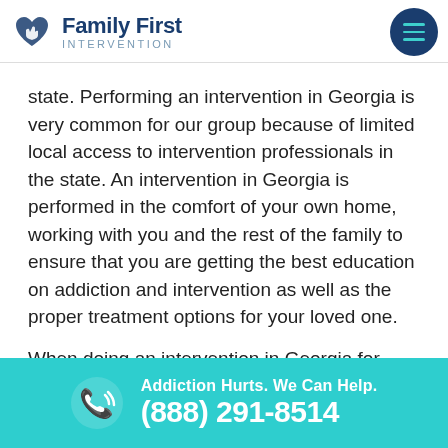Family First Intervention
state. Performing an intervention in Georgia is very common for our group because of limited local access to intervention professionals in the state. An intervention in Georgia is performed in the comfort of your own home, working with you and the rest of the family to ensure that you are getting the best education on addiction and intervention as well as the proper treatment options for your loved one.

When doing an intervention in Georgia for alcohol or drug addiction, we almost always recommend longer term treatment away from home. Also, with limited treatment options in the state of Georgia, we often bring your loved one to a treatment center
Addiction Hurts. We Can Help. (888) 291-8514